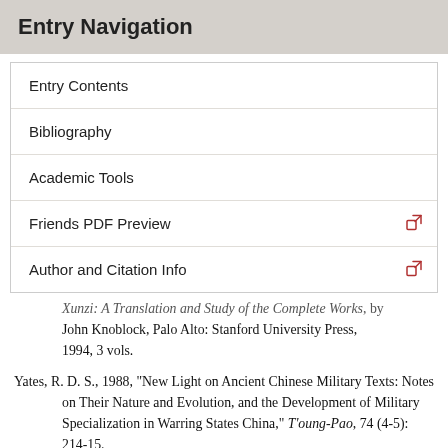Entry Navigation
Entry Contents
Bibliography
Academic Tools
Friends PDF Preview
Author and Citation Info
Xunzi: A Translation and Study of the Complete Works, by John Knoblock, Palo Alto: Stanford University Press, 1994, 3 vols.
Yates, R. D. S., 1988, “New Light on Ancient Chinese Military Texts: Notes on Their Nature and Evolution, and the Development of Military Specialization in Warring States China,” T’oung-Pao, 74 (4-5): 214-15.
——, 2003, “Science and Technology,” in Encyclopedia of Chinese Philosophy, A. S. Cua (ed.), New York and London: Routledge: 657–63.